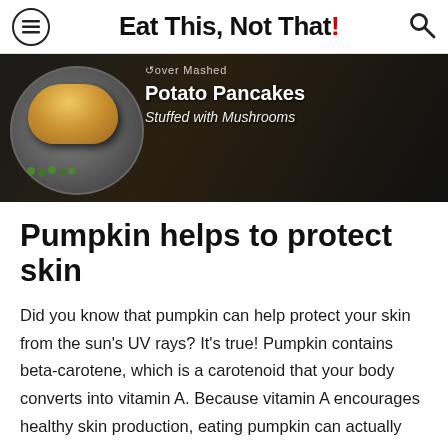Eat This, Not That!
[Figure (photo): Dark food photography showing a plate with a golden fried potato pancake stuffed with mushrooms, surrounded by green peas on a dark background. White text overlay reads 'Leftover Mashed Potato Pancakes Stuffed with Mushrooms']
Pumpkin helps to protect skin
Did you know that pumpkin can help protect your skin from the sun's UV rays? It's true! Pumpkin contains beta-carotene, which is a carotenoid that your body converts into vitamin A. Because vitamin A encourages healthy skin production, eating pumpkin can actually help with this whole process. This sounds like an even better excuse